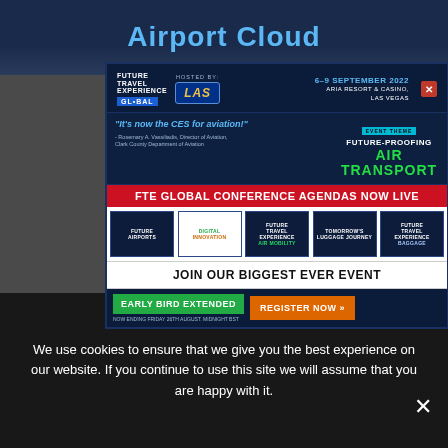Airport Cloud
[Figure (screenshot): FTE Global conference ad popup with logos, event details, conference tracks, early bird registration button and register now button]
Dont remind me again  X Close
We use cookies to ensure that we give you the best experience on our website. If you continue to use this site we will assume that you are happy with it.